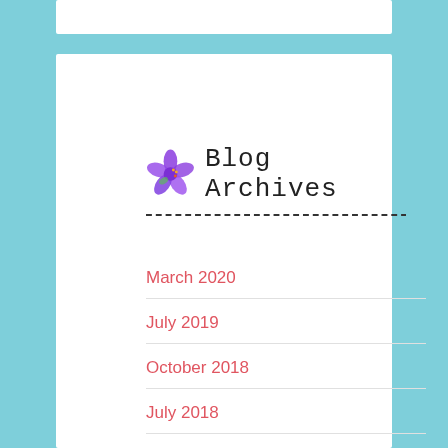Blog Archives
March 2020
July 2019
October 2018
July 2018
June 2018